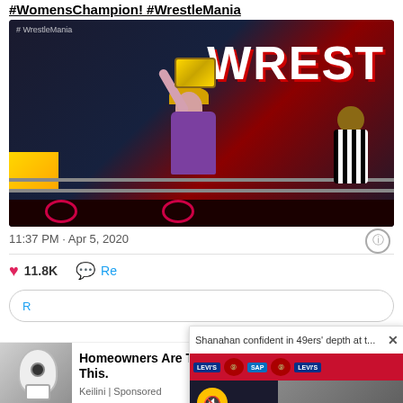#WomensChampion! #WrestleMania
[Figure (photo): WWE WrestleMania photo: female wrestler holding championship belt aloft with referee in wrestling ring, 'WREST' banner visible in red background]
11:37 PM · Apr 5, 2020
11.8K
Re
R
[Figure (screenshot): Video popup overlay: 'Shanahan confident in 49ers' depth at t...' with 49ers press conference video thumbnail, Levi's, SAP, 49ers logos visible, mute button shown]
[Figure (photo): Advertisement image: hand holding a security camera shaped like a light bulb]
Homeowners Are Trading in Their Doorbell Cams for This.
Keilini | Sponsored